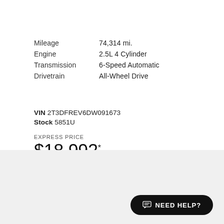Mileage   74,314 mi.
Engine   2.5L 4 Cylinder
Transmission   6-Speed Automatic
Drivetrain   All-Wheel Drive
VIN 2T3DFREV6DW091673
Stock 5851U
EXPRESS PRICE
$18,992*
2015 INFINITI
QX60
NEED HELP?